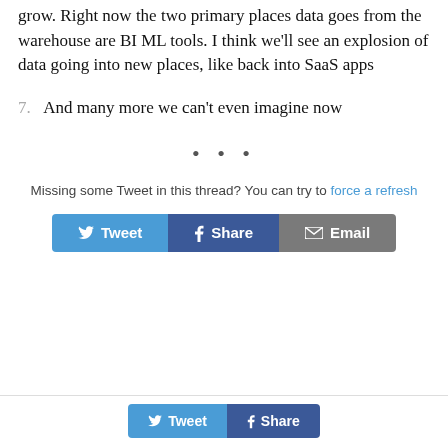grow. Right now the two primary places data goes from the warehouse are BI ML tools. I think we'll see an explosion of data going into new places, like back into SaaS apps
7. And many more we can't even imagine now
• • •
Missing some Tweet in this thread? You can try to force a refresh
[Figure (other): Social sharing buttons: Tweet, Share, Email]
[Figure (other): Bottom bar social sharing buttons: Tweet, Share]